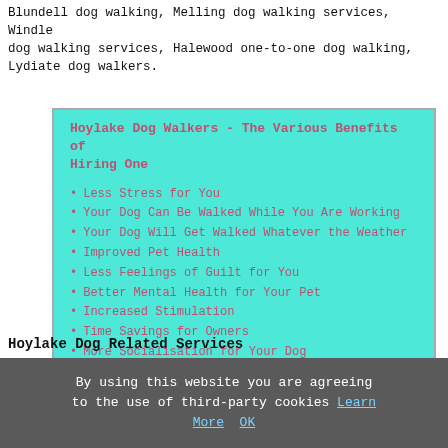Blundell dog walking, Melling dog walking services, Windle dog walking services, Halewood one-to-one dog walking, Lydiate dog walkers.
Hoylake Dog Walkers - The Various Benefits of Hiring One
Less Stress for You
Your Dog Can Be Walked While You Are Working
Your Dog Will Get Walked Whatever the Weather
Improved Pet Health
Less Feelings of Guilt for You
Better Mental Health for Your Pet
Increased Stimulation
Time Savings for Owners
More Socialisation for Your Dog
A Regular Routine for Your Dog
Pet Behaviour Gets Better
Hoylake Dog Related Services
[Figure (photo): Red/orange image with yellow dog-related icon]
There is a wide range of
By using this website you are agreeing to the use of third-party cookies Learn More OK